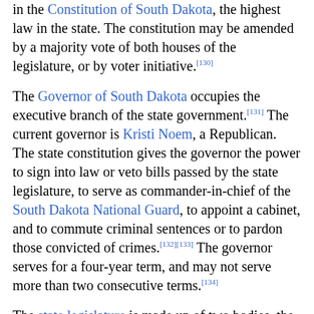in the Constitution of South Dakota, the highest law in the state. The constitution may be amended by a majority vote of both houses of the legislature, or by voter initiative.[130]
The Governor of South Dakota occupies the executive branch of the state government.[131] The current governor is Kristi Noem, a Republican. The state constitution gives the governor the power to sign into law or veto bills passed by the state legislature, to serve as commander-in-chief of the South Dakota National Guard, to appoint a cabinet, and to commute criminal sentences or to pardon those convicted of crimes.[132][133] The governor serves for a four-year term, and may not serve more than two consecutive terms.[134]
The state legislature is made up of two bodies, the Senate, which has 35 members, and the House